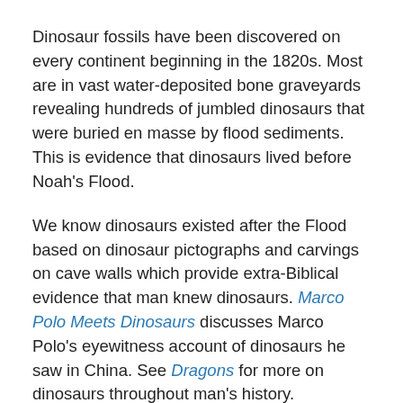Dinosaur fossils have been discovered on every continent beginning in the 1820s. Most are in vast water-deposited bone graveyards revealing hundreds of jumbled dinosaurs that were buried en masse by flood sediments. This is evidence that dinosaurs lived before Noah's Flood.
We know dinosaurs existed after the Flood based on dinosaur pictographs and carvings on cave walls which provide extra-Biblical evidence that man knew dinosaurs. Marco Polo Meets Dinosaurs discusses Marco Polo's eyewitness account of dinosaurs he saw in China. See Dragons for more on dinosaurs throughout man's history.
The post-Flood book of Job depicts the terror of human interaction with dinosaurs Behemoth and Leviathan (Job 40:15-41:34), giving them its longest description of any animals. From Genesis to Revelation the Bible has some